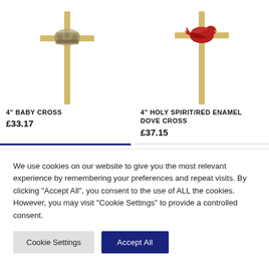[Figure (illustration): Gold cross pin with silver baby/stork ornament at center, product image for 4 inch Baby Cross]
[Figure (illustration): Gold cross pin with red enamel dove ornament at center, product image for 4 inch Holy Spirit/Red Enamel Dove Cross]
4" BABY CROSS
£33.17
4" HOLY SPIRIT/RED ENAMEL DOVE CROSS
£37.15
We use cookies on our website to give you the most relevant experience by remembering your preferences and repeat visits. By clicking "Accept All", you consent to the use of ALL the cookies. However, you may visit "Cookie Settings" to provide a controlled consent.